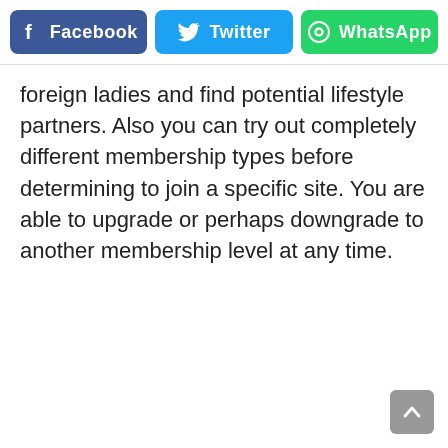[Figure (infographic): Social share buttons row: Facebook (blue/indigo), Twitter (cyan), WhatsApp (green)]
foreign ladies and find potential lifestyle partners. Also you can try out completely different membership types before determining to join a specific site. You are able to upgrade or perhaps downgrade to another membership level at any time.